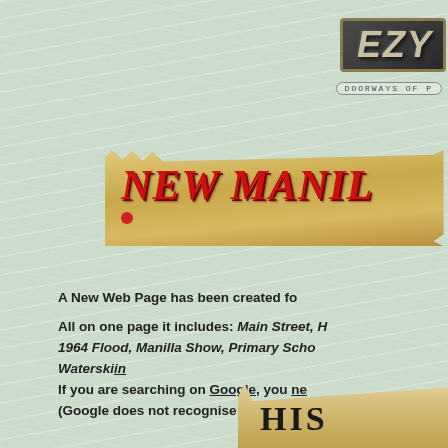[Figure (logo): EZY logo with dark metallic background and gold border, with tagline 'DOORWAYS OF P...' below]
[Figure (illustration): NEW MANILLA banner on torn scroll/parchment background in gold/tan color with red serif italic text]
A New Web Page has been created fo...
All on one page it includes: Main Street, H... 1964 Flood, Manilla Show, Primary Scho... Waterski... If you are searching on Google, you ne... (Google does not recognise Blo...
[Figure (illustration): Bottom partial scroll with 'HIS' text visible, partially cropped]